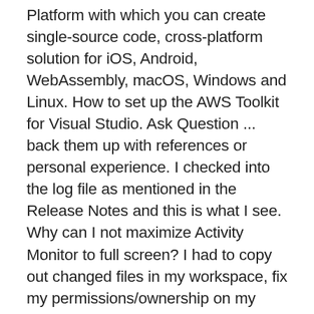Platform with which you can create single-source code, cross-platform solution for iOS, Android, WebAssembly, macOS, Windows and Linux. How to set up the AWS Toolkit for Visual Studio. Ask Question ... back them up with references or personal experience. I checked into the log file as mentioned in the Release Notes and this is what I see. Why can I not maximize Activity Monitor to full screen? I had to copy out changed files in my workspace, fix my permissions/ownership on my directory (it was no owner instead of me), re-do the mapped drive the workspace was on, re-do the shortcut to the Visual Studio project (even though it was supposed to theoretically be the same place I mapped), re-pull the project down, and copy my changes in again. The DR version adds a DeviceResources (DX11 or DX12) abstraction to isolate the device and swapchain code into it's own helper class. I had the same issue. It's installed on This is on a Windows Server 2012. What is